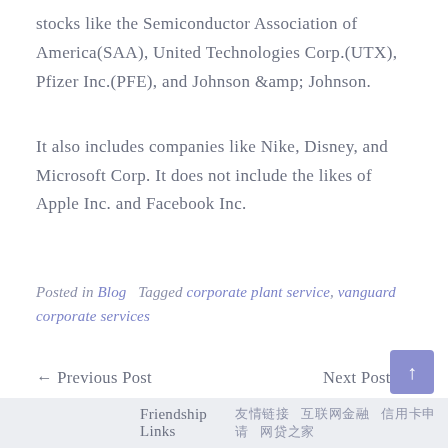stocks like the Semiconductor Association of America(SAA), United Technologies Corp.(UTX), Pfizer Inc.(PFE), and Johnson &amp; Johnson.
It also includes companies like Nike, Disney, and Microsoft Corp. It does not include the likes of Apple Inc. and Facebook Inc.
Posted in Blog   Tagged corporate plant service, vanguard corporate services
← Previous Post      Next Post →
Friendship Links  友情链接  互联网金融  信用卡申请  网贷之家